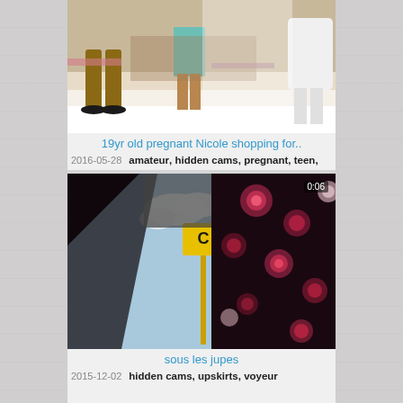[Figure (screenshot): Thumbnail image of a shopping scene, people in a store]
19yr old pregnant Nicole shopping for..
2016-05-28   amateur, hidden cams, pregnant, teen,
[Figure (screenshot): Upward angle video thumbnail showing floral fabric and sky with street sign, duration 0:06]
sous les jupes
2015-12-02   hidden cams, upskirts, voyeur